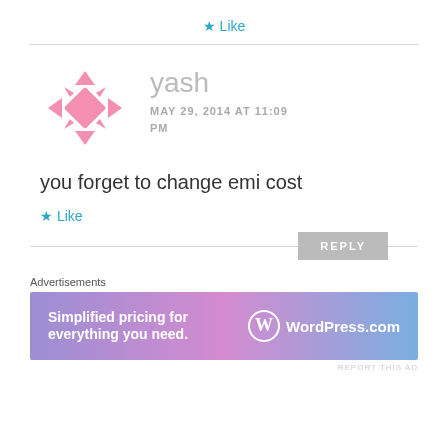★ Like
[Figure (illustration): Pink decorative avatar with geometric star/diamond pattern for user 'yash']
yash
MAY 29, 2014 AT 11:09 PM
you forget to change emi cost
★ Like
REPLY
Advertisements
[Figure (infographic): WordPress.com advertisement banner with gradient background reading 'Simplified pricing for everything you need.' with WordPress logo]
REPORT THIS AD